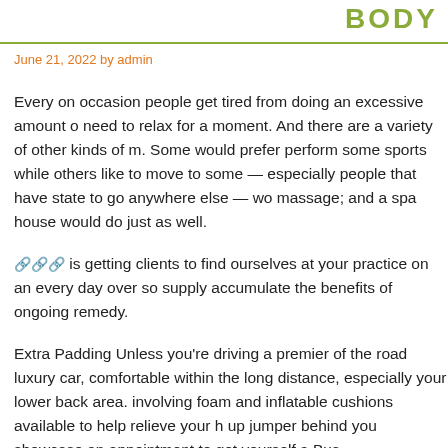BODY
June 21, 2022 by admin
Every on occasion people get tired from doing an excessive amount of need to relax for a moment. And there are a variety of other kinds of r. Some would prefer perform some sports while others like to move to some — especially people that have state to go anywhere else — wo massage; and a spa house would do just as well.
🔗🔗🔗 is getting clients to find ourselves at your practice on an every day over so supply accumulate the benefits of ongoing remedy.
Extra Padding Unless you're driving a premier of the road luxury car, comfortable within the long distance, especially your lower back area. involving foam and inflatable cushions available to help relieve your h up jumper behind you showcase an appointment to get yourself a Bus
There are many different connected with massage therapy. Some the fragrances that allow you to prepare relax. Some forms of massage th body, whilst are performed on your entire body.
To obtain the widest regarding treatments, try out a spa implies doubl probably get a haircut or a pedicure in a relaxing trip massage aio pla
It is on marvellous massage both that we all like to enjoy Istanbul M